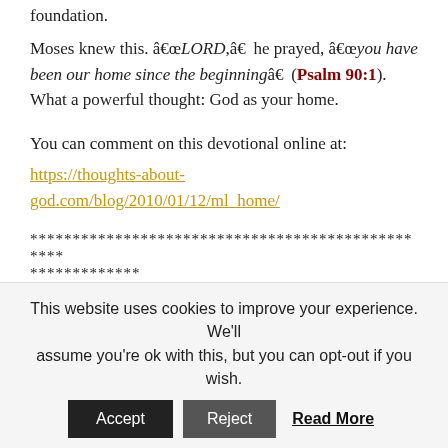foundation.
Moses knew this. â€œLORD,â€ he prayed, â€œyou have been our home since the beginningâ€ (Psalm 90:1). What a powerful thought: God as your home.
You can comment on this devotional online at: https://thoughts-about-god.com/blog/2010/01/12/ml_home/
************************************************* *************
Max Lucado
From: The Great House of God
This website uses cookies to improve your experience. We'll assume you're ok with this, but you can opt-out if you wish.